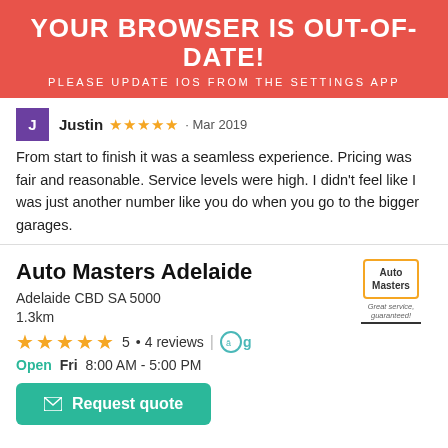YOUR BROWSER IS OUT-OF-DATE!
PLEASE UPDATE IOS FROM THE SETTINGS APP
Justin ★★★★★ · Mar 2019
From start to finish it was a seamless experience. Pricing was fair and reasonable. Service levels were high. I didn't feel like I was just another number like you do when you go to the bigger garages.
Auto Masters Adelaide
Adelaide CBD SA 5000
1.3km
★★★★★ 5 · 4 reviews | ag
Open Fri 8:00 AM - 5:00 PM
Request quote